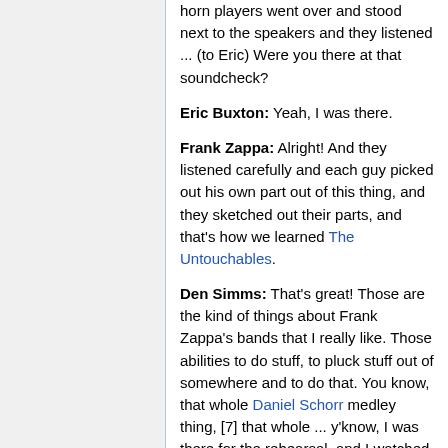horn players went over and stood next to the speakers and they listened ... (to Eric) Were you there at that soundcheck?
Eric Buxton: Yeah, I was there.
Frank Zappa: Alright! And they listened carefully and each guy picked out his own part out of this thing, and they sketched out their parts, and that's how we learned The Untouchables.
Den Simms: That's great! Those are the kind of things about Frank Zappa's bands that I really like. Those abilities to do stuff, to pluck stuff out of somewhere and to do that. You know, that whole Daniel Schorr medley thing, [7] that whole ... y'know, I was there for the rehearsal, and I watched how that rehearsal came together, and for me, personally, watching that rehearsal was